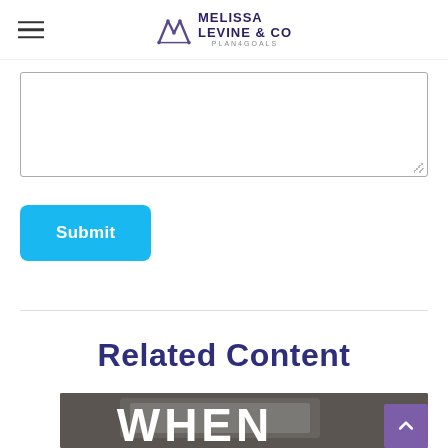Melissa Levine & Co | Plan4Goals
[Figure (screenshot): Textarea form input field with resize handle in bottom-right corner]
[Figure (screenshot): Cyan/blue Submit button]
Related Content
[Figure (photo): Photo of hand holding a pen writing on a tablet, with bold white text 'WHEN' overlaid. Purple scroll-to-top button in bottom-right corner.]